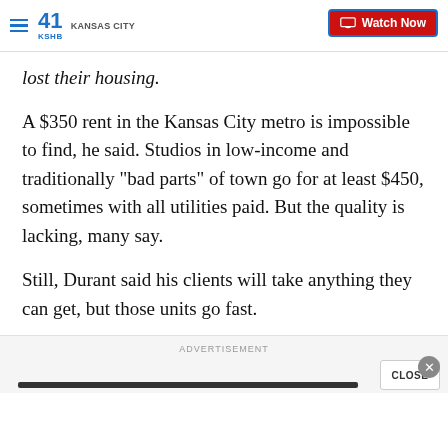KSHB 41 Kansas City | Watch Now
lost their housing.
A $350 rent in the Kansas City metro is impossible to find, he said. Studios in low-income and traditionally "bad parts" of town go for at least $450, sometimes with all utilities paid. But the quality is lacking, many say.
Still, Durant said his clients will take anything they can get, but those units go fast.
ADVERTISEMENT